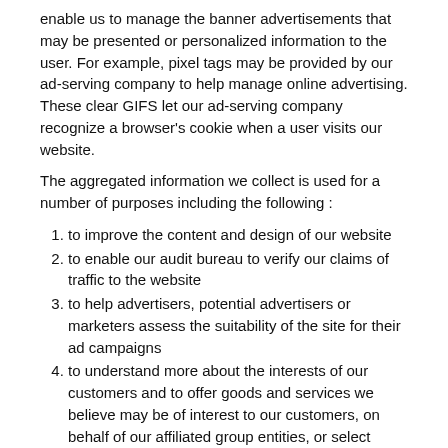enable us to manage the banner advertisements that may be presented or personalized information to the user. For example, pixel tags may be provided by our ad-serving company to help manage online advertising. These clear GIFS let our ad-serving company recognize a browser's cookie when a user visits our website.
The aggregated information we collect is used for a number of purposes including the following :
1. to improve the content and design of our website
2. to enable our audit bureau to verify our claims of traffic to the website
3. to help advertisers, potential advertisers or marketers assess the suitability of the site for their ad campaigns
4. to understand more about the interests of our customers and to offer goods and services we believe may be of interest to our customers, on behalf of our affiliated group entities, or select organisations.
We use the following cookies:
Strictly necessary cookies. These are cookies that are required for the operation of our website. They include, for example, cookies that enable you to log into secure areas of our website, use a shopping cart or make use of e-billing